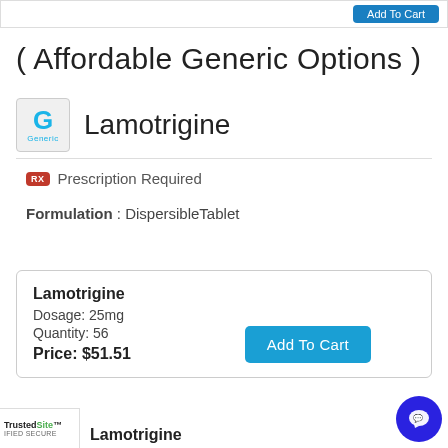( Affordable Generic Options )
Lamotrigine
RX Prescription Required
Formulation : DispersibleTablet
| Lamotrigine |
| Dosage: 25mg |
| Quantity: 56 |
| Price: $51.51 |
Add To Cart
Lamotrigine